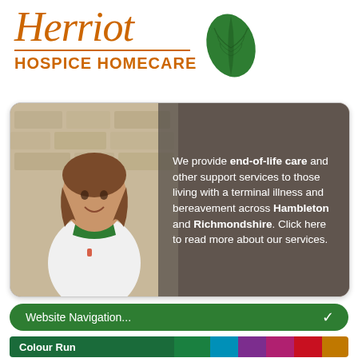[Figure (logo): Herriot Hospice Homecare logo with orange italic script text and green leaf icon]
[Figure (photo): Nurse smiling in front of a stone wall background, with a semi-transparent dark overlay containing promotional text about end-of-life care services in Hambleton and Richmondshire]
We provide end-of-life care and other support services to those living with a terminal illness and bereavement across Hambleton and Richmondshire. Click here to read more about our services.
Website Navigation...
Colour Run
12th August 2017